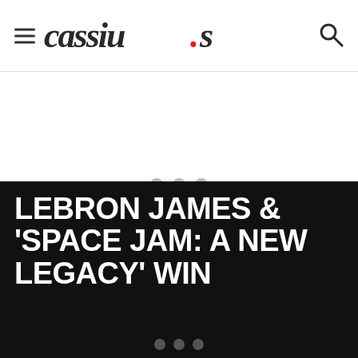cassius
[Figure (other): Loading/advertisement placeholder with three grey dots in the center of a white area]
LEBRON JAMES & ‘SPACE JAM: A NEW LEGACY’ WIN